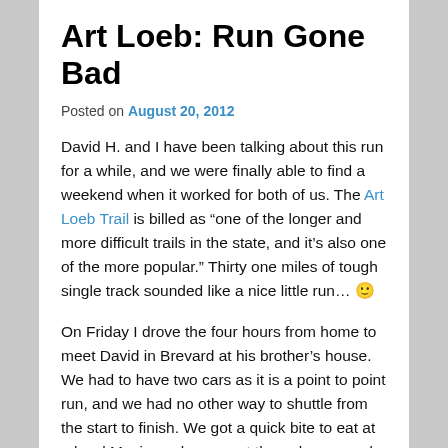Art Loeb: Run Gone Bad
Posted on August 20, 2012
David H. and I have been talking about this run for a while, and we were finally able to find a weekend when it worked for both of us.  The Art Loeb Trail is billed as “one of the longer and more difficult trails in the state, and it’s also one of the more popular.”  Thirty one miles of tough single track sounded like a nice little run…  🙂
On Friday I drove the four hours from home to meet David in Brevard at his brother’s house.  We had to have two cars as it is a point to point run, and we had no other way to shuttle from the start to finish.  We got a quick bite to eat at a local Mexican place, went through gear and food one last time, and hit the sack.  The alarms were set for 6:00, and at 6:15 when I didn’t hear anything from David’s room, I went to wake him.  A quick coffee and we were on the road.  We dropped my car at the trail head in Pisgah